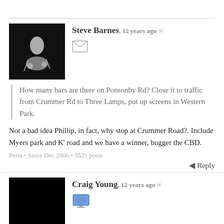Steve Barnes, 12 years ago ∞
How many bars are there on Ponsonby Rd? Close it to traffic from Crummer Rd to Three Lamps, put up screens in Western Park.
Not a bad idea Phillip, in fact, why stop at Crummer Road?. Include Myers park and K' road and we have a winner, bugger the CBD.
Peria • Since Dec 2006 • 5521 posts
Reply
Craig Young, 12 years ago ∞
Russell, you poor thing!
Take large amounts of caffeine immediately, or failing that, chocolate, to wash the acrid taste of sock-son-nincompoopery from your